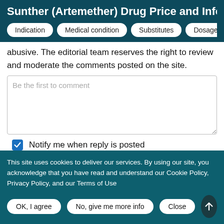Sunther (Artemether) Drug Price and Information
abusive. The editorial team reserves the right to review and moderate the comments posted on the site.
Be the first to comment
Notify me when reply is posted
I agree to the terms and conditions
This site uses cookies to deliver our services. By using our site, you acknowledge that you have read and understand our Cookie Policy, Privacy Policy, and our Terms of Use
OK, I agree | No, give me more info | Close